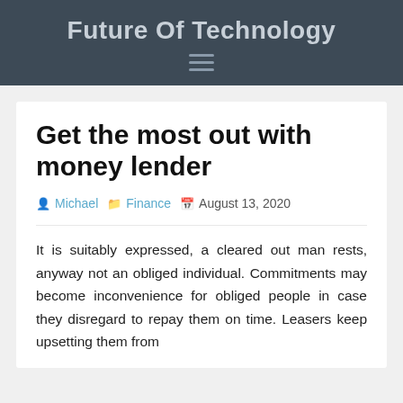Future Of Technology
Get the most out with money lender
Michael   Finance   August 13, 2020
It is suitably expressed, a cleared out man rests, anyway not an obliged individual. Commitments may become inconvenience for obliged people in case they disregard to repay them on time. Leasers keep upsetting them from